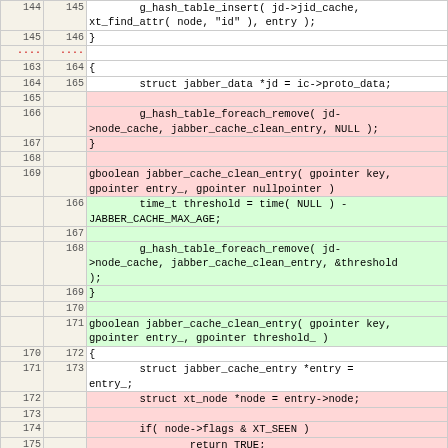[Figure (other): Code diff view showing changes to jabber cache functions. Left columns show old/new line numbers, right column shows code with red background for deleted lines and green background for added lines.]